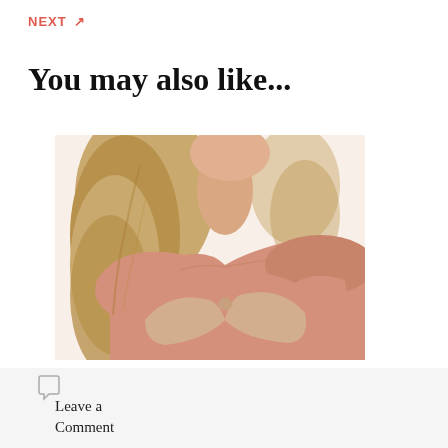NEXT ↗
You may also like...
[Figure (photo): Woman wearing a nude/beige strapless adhesive bra, showing neckline and shoulders, against white background]
Leave a Comment